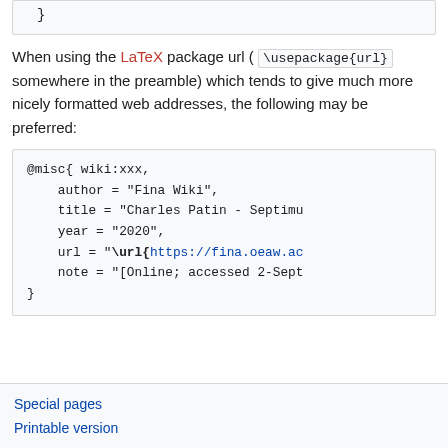[Figure (screenshot): Code block showing closing brace of a BibTeX entry]
When using the LaTeX package url ( \usepackage{url} somewhere in the preamble) which tends to give much more nicely formatted web addresses, the following may be preferred:
[Figure (screenshot): Code block showing BibTeX @misc entry with author Fina Wiki, title Charles Patin - Septimu..., year 2020, url with \url{https://fina.oeaw.ac...}, note [Online; accessed 2-Sept...]
Special pages
Printable version